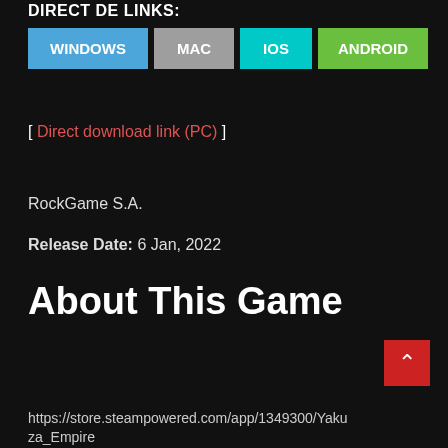DIRECT DE LINKS:
[Figure (other): Four platform download buttons: WINDOWS (blue), MAC (gray), IOS (teal), ANDROID (green)]
[ Direct download link (PC) ]
RockGame S.A.
Release Date: 6 Jan, 2022
About This Game
https://store.steampowered.com/app/1349300/Yakuza_Empire